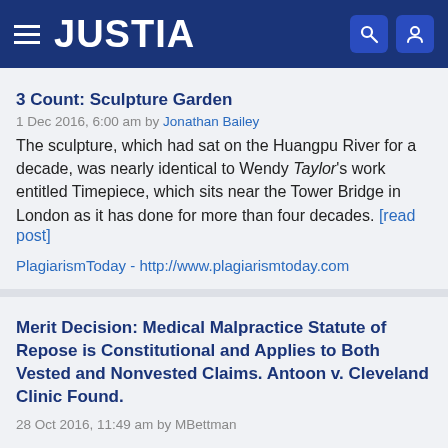JUSTIA
3 Count: Sculpture Garden
1 Dec 2016, 6:00 am by Jonathan Bailey
The sculpture, which had sat on the Huangpu River for a decade, was nearly identical to Wendy Taylor's work entitled Timepiece, which sits near the Tower Bridge in London as it has done for more than four decades. [read post]
PlagiarismToday - http://www.plagiarismtoday.com
Merit Decision: Medical Malpractice Statute of Repose is Constitutional and Applies to Both Vested and Nonvested Claims. Antoon v. Cleveland Clinic Found.
28 Oct 2016, 11:49 am by MBettman